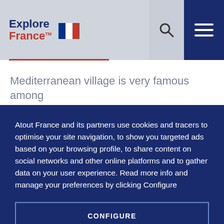[Figure (screenshot): Explore France website navigation bar with logo, French flag, search icon, and hamburger menu on dark navy background]
Mediterranean village is very famous among
Atout France and its partners use cookies and tracers to optimise your site navigation, to show you targeted ads based on your browsing profile, to share content on social networks and other online platforms and to gather data on your user experience. Read more info and manage your preferences by clicking Configure
CONFIGURE
BLOCK ALL COOKIES
ACCEPT ALL COOKIES